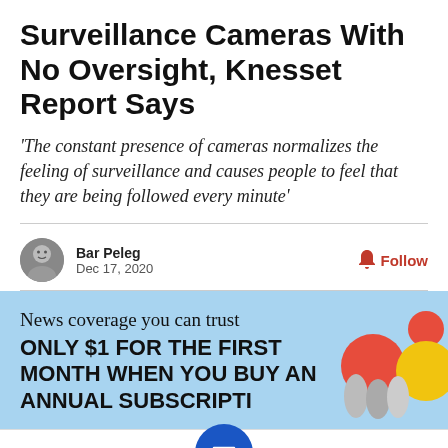Surveillance Cameras With No Oversight, Knesset Report Says
'The constant presence of cameras normalizes the feeling of surveillance and causes people to feel that they are being followed every minute'
Bar Peleg
Dec 17, 2020
[Figure (screenshot): Advertisement banner: News coverage you can trust. ONLY $1 FOR THE FIRST MONTH WHEN YOU BUY AN ANNUAL SUBSCRIPT... with decorative colorful circles]
[Figure (screenshot): Mobile browser toolbar with Twitter, Facebook, bookmark, and email icons, and a blue circular menu button in the center]
[Figure (screenshot): Petco advertisement showing In-store shopping and Curbside pickup options]